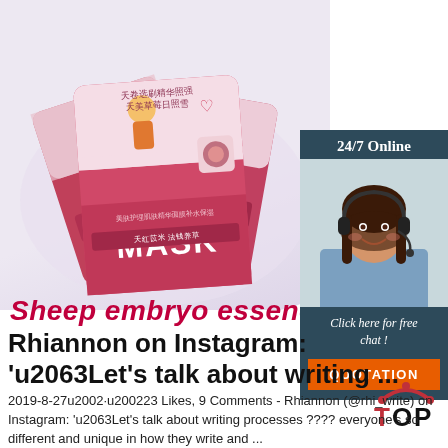[Figure (photo): Product photo of sheep embryo essence face mask packages arranged overlapping, pink/red packaging with Chinese text and 'MASK' label, on a light purple/grey background]
Sheep embryo essence m
[Figure (photo): 24/7 Online chat widget with dark teal background. Shows a smiling woman with headset (customer service representative). Text: '24/7 Online', 'Click here for free chat!', and an orange button labeled 'QUOTATION']
Rhiannon on Instagram: 'u2063Let's talk about writing ...
2019-8-27u2002·u200223 Likes, 9 Comments - Rhiannon (@rhi_write) on Instagram: 'u2063Let's talk about writing processes ???? everyone's so different and unique in how they write and ...
[Figure (logo): TOP logo with red arc/chevron above letters 'TOP' in red and black]